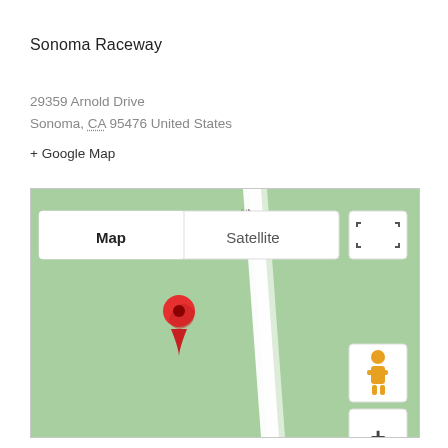Sonoma Raceway
29359 Arnold Drive
Sonoma, CA 95476 United States
+ Google Map
[Figure (map): Google Map screenshot showing Sonoma Raceway location with a red map pin marker on a green terrain map. Shows 'De Mattos Rd' road label, 'Map' and 'Satellite' toggle buttons at top, fullscreen icon, street view pegman icon, and zoom +/- controls.]